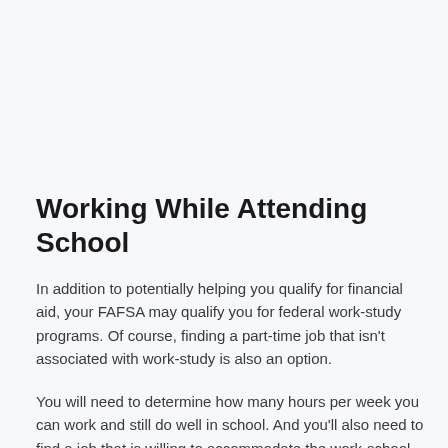Working While Attending School
In addition to potentially helping you qualify for financial aid, your FAFSA may qualify you for federal work-study programs. Of course, finding a part-time job that isn't associated with work-study is also an option.
You will need to determine how many hours per week you can work and still do well in school. And you'll also need to find a job that is willing to accommodate the work-school balance you require. For example, it's important to